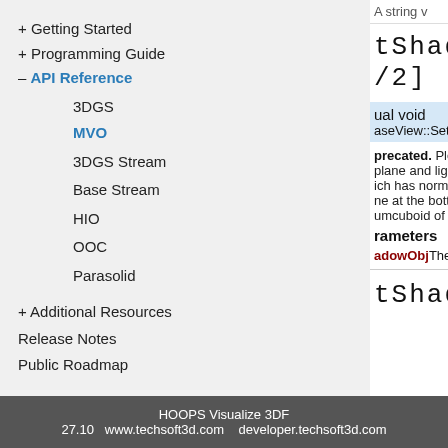+ Getting Started
+ Programming Guide
– API Reference
3DGS
MVO
3DGS Stream
Base Stream
HIO
OOC
Parasolid
+ Additional Resources
Release Notes
Public Roadmap
tShadowP
/2]
ual void
aseView::SetShadow
precated. Please use plane and light posit ich has normal along ne at the bottom. The umcuboid of scene) f
rameters
adowObj The HShadow
tShadowP
HOOPS Visualize 3DF
27.10   www.techsoft3d.com    developer.techsoft3d.com